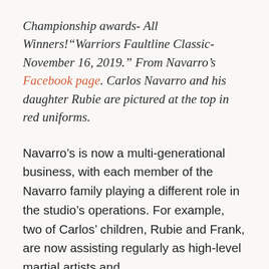Championship awards- All Winners!“Warriors Faultline Classic- November 16, 2019.” From Navarro’s Facebook page. Carlos Navarro and his daughter Rubie are pictured at the top in red uniforms.
Navarro’s is now a multi-generational business, with each member of the Navarro family playing a different role in the studio’s operations. For example, two of Carlos’ children, Rubie and Frank, are now assisting regularly as high-level martial artists and